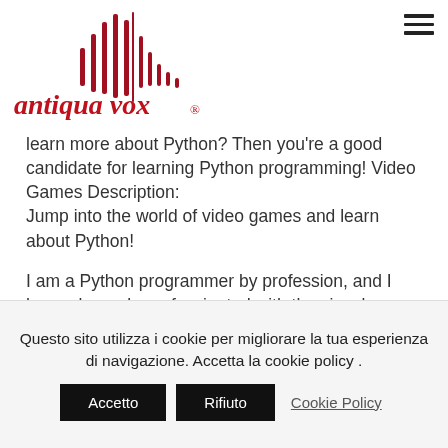[Figure (logo): Antiqua Vox logo with red sound-wave bars and italic red text 'antiqua vox ®']
learn more about Python? Then you're a good candidate for learning Python programming! Video Games Description:
Jump into the world of video games and learn about Python!
I am a Python programmer by profession, and I have always been fascinated with the visual interface of the language. I believe that a basic understanding of both Python's syntax and
Questo sito utilizza i cookie per migliorare la tua esperienza di navigazione. Accetta la cookie policy .
Accetto   Rifiuto   Cookie Policy